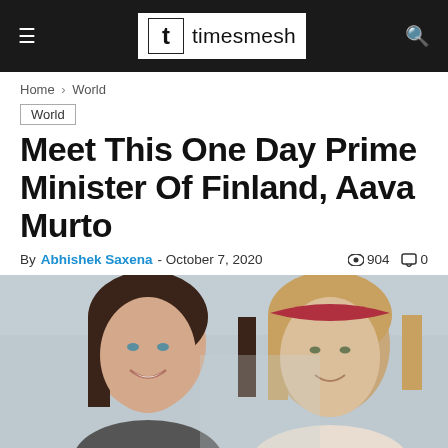timesmesh
Home > World
World
Meet This One Day Prime Minister Of Finland, Aava Murto
By Abhishek Saxena - October 7, 2020  904  0
[Figure (photo): Two young women side by side: left woman with dark hair smiling, right woman with red headband, outdoor/urban background]